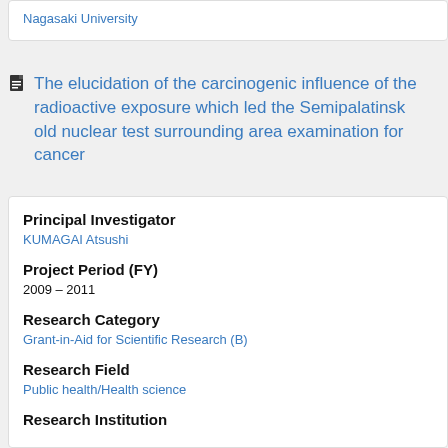Nagasaki University
The elucidation of the carcinogenic influence of the radioactive exposure which led the Semipalatinsk old nuclear test surrounding area examination for cancer
Principal Investigator
KUMAGAI Atsushi
Project Period (FY)
2009 – 2011
Research Category
Grant-in-Aid for Scientific Research (B)
Research Field
Public health/Health science
Research Institution